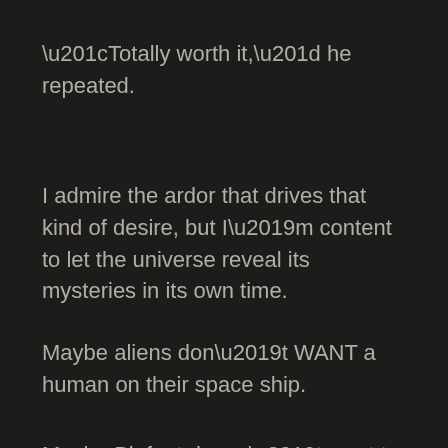“Totally worth it,” he repeated.
I admire the ardor that drives that kind of desire, but I’m content to let the universe reveal its mysteries in its own time.
Maybe aliens don’t WANT a human on their space ship.
Maybe Bigfoot doesn’t want to be found.